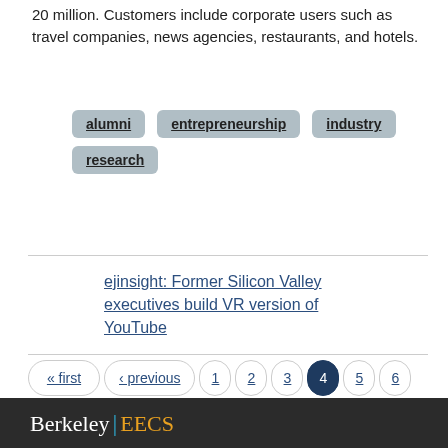20 million.  Customers include corporate users such as travel companies, news agencies, restaurants, and hotels.
alumni
entrepreneurship
industry
research
ejinsight: Former Silicon Valley executives build VR version of YouTube
« first ‹ previous 1 2 3 4 5 6 7 8 9 next › last »
Berkeley | EECS